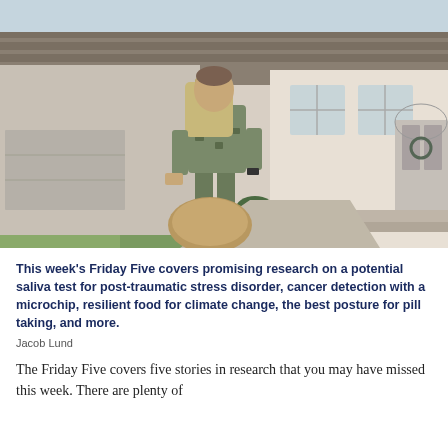[Figure (photo): A soldier in camouflage uniform viewed from behind, carrying a large duffel bag in one hand and wearing a backpack, standing in front of a suburban house with a porch and windows.]
This week's Friday Five covers promising research on a potential saliva test for post-traumatic stress disorder, cancer detection with a microchip, resilient food for climate change, the best posture for pill taking, and more.
Jacob Lund
The Friday Five covers five stories in research that you may have missed this week. There are plenty of